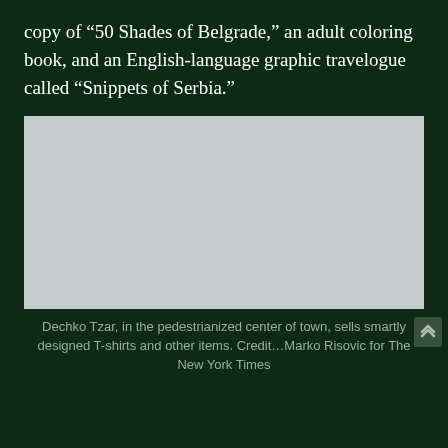copy of “50 Shades of Belgrade,” an adult coloring book, and an English-language graphic travelogue called “Snippets of Serbia.”
[Figure (photo): A large rectangular image placeholder (light grey) depicting a scene at Dechko Tzar in the pedestrianized center of town.]
Dechko Tzar, in the pedestrianized center of town, sells smartly designed T-shirts and other items. Credit…Marko Risovic for The New York Times